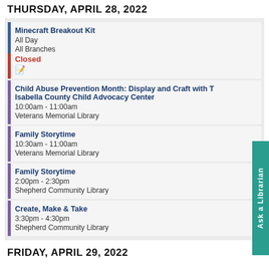THURSDAY, APRIL 28, 2022
Minecraft Breakout Kit
All Day
All Branches
Closed
Child Abuse Prevention Month: Display and Craft with The Isabella County Child Advocacy Center
10:00am - 11:00am
Veterans Memorial Library
Family Storytime
10:30am - 11:00am
Veterans Memorial Library
Family Storytime
2:00pm - 2:30pm
Shepherd Community Library
Create, Make & Take
3:30pm - 4:30pm
Shepherd Community Library
FRIDAY, APRIL 29, 2022